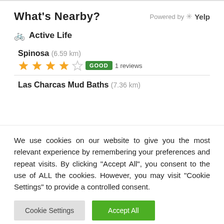What's Nearby?
Powered by ✳ Yelp
🚲 Active Life
Spinosa (6.59 km) ★★★★☆ GOOD 1 reviews
Las Charcas Mud Baths (7.36 km)
We use cookies on our website to give you the most relevant experience by remembering your preferences and repeat visits. By clicking "Accept All", you consent to the use of ALL the cookies. However, you may visit "Cookie Settings" to provide a controlled consent.
Cookie Settings | Accept All